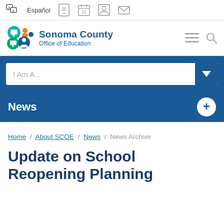Español | [icons: phone, calendar, person, mail]
[Figure (logo): Sonoma County Office of Education logo with colorful circles and text]
I Am A...
News
Home / About SCOE / News / News Archive
Update on School Reopening Planning